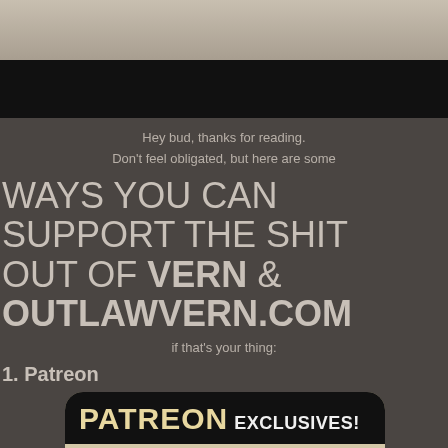[Figure (photo): Top decorative textured paper/banner area]
[Figure (photo): Black banner bar]
Hey bud, thanks for reading.
Don't feel obligated, but here are some
WAYS YOU CAN SUPPORT THE SHIT OUT OF VERN & OUTLAWVERN.COM
if that's your thing:
1. Patreon
[Figure (illustration): Patreon Exclusives advertisement styled like a vintage movie newspaper ad, featuring The Twilight Saga with illustrated character faces and text: IN-DEPTH, OPEN-MINDED REVIEWS OF ALL 5 FILMS! In color. PG-13 badge.]